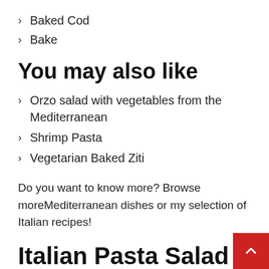Baked Cod
Bake
You may also like
Orzo salad with vegetables from the Mediterranean
Shrimp Pasta
Vegetarian Baked Ziti
Do you want to know more? Browse moreMediterranean dishes or my selection of Italian recipes!
Italian Pasta Salad Recipe